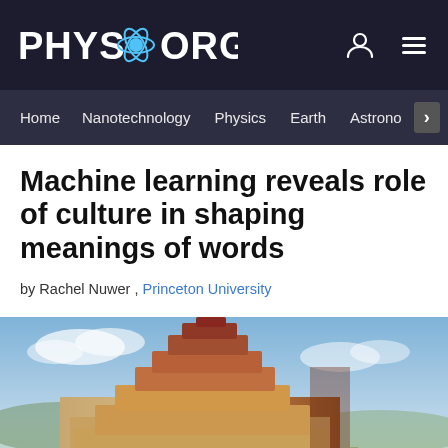PHYS.ORG
Home | Nanotechnology | Physics | Earth | Astronomy >
Machine learning reveals role of culture in shaping meanings of words
by Rachel Nuwer , Princeton University
[Figure (photo): Painting of the Tower of Babel - a large ancient spiral tower construction, resembling Bruegel's Tower of Babel painting, set against a landscape background with sky]